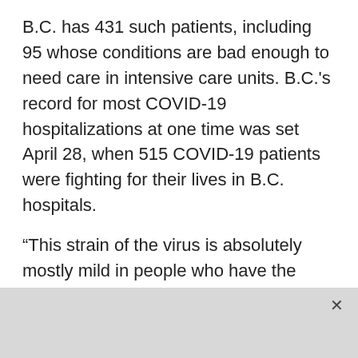B.C. has 431 such patients, including 95 whose conditions are bad enough to need care in intensive care units. B.C.'s record for most COVID-19 hospitalizations at one time was set April 28, when 515 COVID-19 patients were fighting for their lives in B.C. hospitals.
“This strain of the virus is absolutely mostly mild in people who have the protection that vaccination offers,” Henry said.
She acknowledged the number of vaccinated people ending up in hospital has been increasing amid this fourth wave.
“But we have to remember that is because the vast